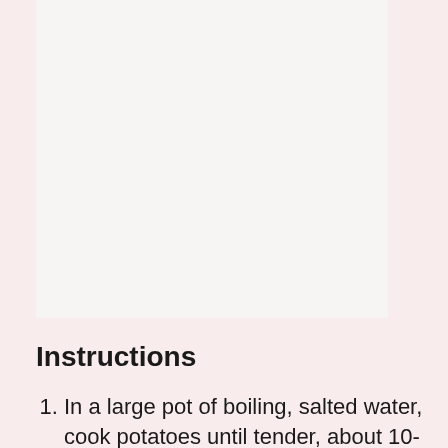[Figure (photo): Large image placeholder area (white/light background), likely a food photo of potatoes]
Instructions
In a large pot of boiling, salted water, cook potatoes until tender, about 10-13 minutes (image cut off at bottom)